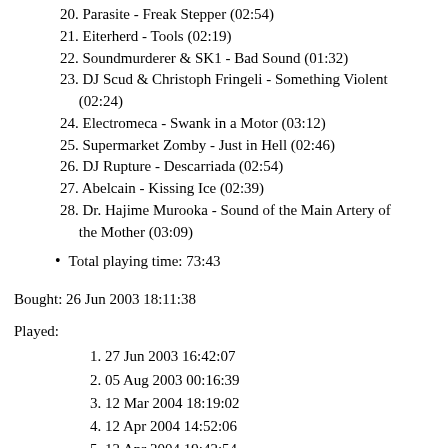20. Parasite - Freak Stepper (02:54)
21. Eiterherd - Tools (02:19)
22. Soundmurderer & SK1 - Bad Sound (01:32)
23. DJ Scud & Christoph Fringeli - Something Violent (02:24)
24. Electromeca - Swank in a Motor (03:12)
25. Supermarket Zomby - Just in Hell (02:46)
26. DJ Rupture - Descarriada (02:54)
27. Abelcain - Kissing Ice (02:39)
28. Dr. Hajime Murooka - Sound of the Main Artery of the Mother (03:09)
Total playing time: 73:43
Bought: 26 Jun 2003 18:11:38
Played:
1. 27 Jun 2003 16:42:07
2. 05 Aug 2003 00:16:39
3. 12 Mar 2004 18:19:02
4. 12 Apr 2004 14:52:06
5. 12 Apr 2004 19:42:54
6. 12 Apr 2004 20:57:00